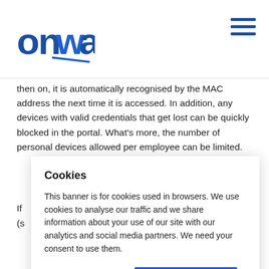Onway logo and navigation menu
then on, it is automatically recognised by the MAC address the next time it is accessed. In addition, any devices with valid credentials that get lost can be quickly blocked in the portal. What's more, the number of personal devices allowed per employee can be limited.
Cookies
This banner is for cookies used in browsers. We use cookies to analyse our traffic and we share information about your use of our site with our analytics and social media partners. We need your consent to use them.